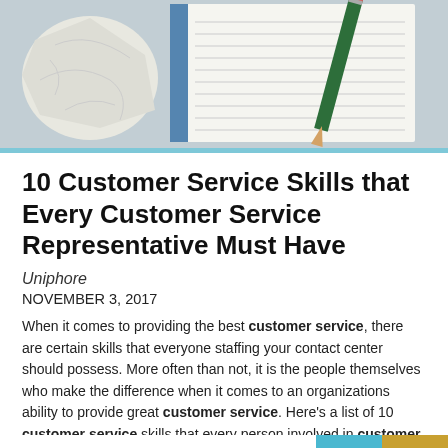[Figure (photo): Header photo showing a crumpled piece of paper, a lined notepad, and a pencil on a desk surface]
10 Customer Service Skills that Every Customer Service Representative Must Have
Uniphore
NOVEMBER 3, 2017
When it comes to providing the best customer service, there are certain skills that everyone staffing your contact center should possess. More often than not, it is the people themselves who make the difference when it comes to an organizations ability to provide great customer service. Here's a list of 10 customer service skills that every person involved in customer service needs to own to be able to provide the best customer experience possible.